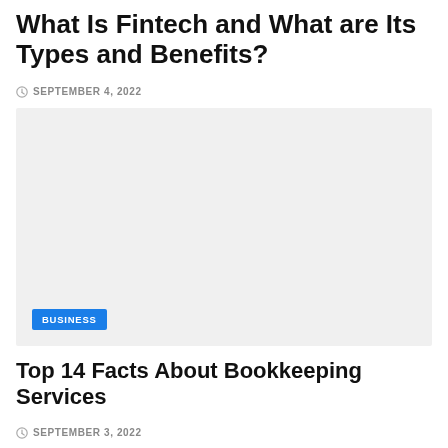What Is Fintech and What are Its Types and Benefits?
SEPTEMBER 4, 2022
[Figure (photo): Large light grey placeholder image with a 'BUSINESS' category badge in the lower left corner]
Top 14 Facts About Bookkeeping Services
SEPTEMBER 3, 2022